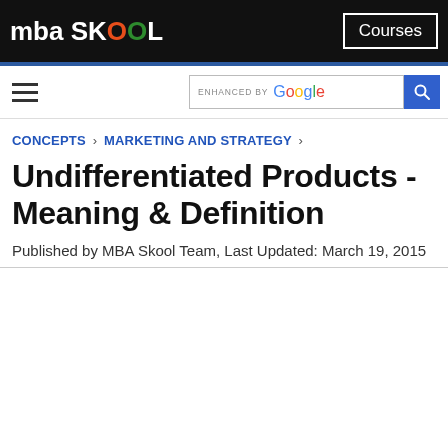mba SKOOL — Courses
Hamburger menu / Search bar enhanced by Google
CONCEPTS › MARKETING AND STRATEGY ›
Undifferentiated Products - Meaning & Definition
Published by MBA Skool Team, Last Updated: March 19, 2015